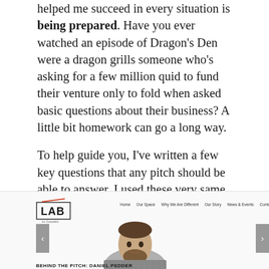helped me succeed in every situation is being prepared. Have you ever watched an episode of Dragon's Den were a dragon grills someone who's asking for a few million quid to fund their venture only to fold when asked basic questions about their business? A little bit homework can go a long way.
To help guide you, I've written a few key questions that any pitch should be able to answer. I used these very same ones to prepare and win Lab's pitch battle night.
[Figure (screenshot): Screenshot of the LAB by Coworkin website showing the logo, navigation bar (Home, Our Space, Why We Are Different, Our Story, News & Events, Contact), a cropped photo of a bearded man smiling, navigation arrows on left and right, and the caption 'BEHIND THE PITCH: DANIEL PEDDER' at the bottom.]